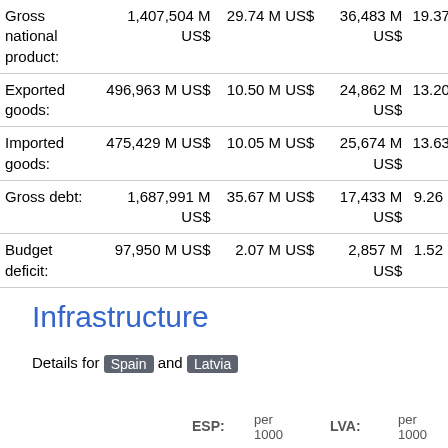|  |  |  |  |  |
| --- | --- | --- | --- | --- |
| Gross national product: | 1,407,504 M US$ | 29.74 M US$ | 36,483 M US$ | 19.37 |
| Exported goods: | 496,963 M US$ | 10.50 M US$ | 24,862 M US$ | 13.20 |
| Imported goods: | 475,429 M US$ | 10.05 M US$ | 25,674 M US$ | 13.63 |
| Gross debt: | 1,687,991 M US$ | 35.67 M US$ | 17,433 M US$ | 9.26 |
| Budget deficit: | 97,950 M US$ | 2.07 M US$ | 2,857 M US$ | 1.52 |
Infrastructure
Details for Spain and Latvia
ESP: per 1000   LVA: per 1000